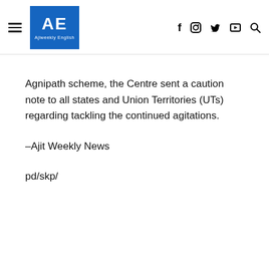AE Ajiweekly English — navigation bar with social icons
Agnipath scheme, the Centre sent a caution note to all states and Union Territories (UTs) regarding tackling the continued agitations.
–Ajit Weekly News
pd/skp/